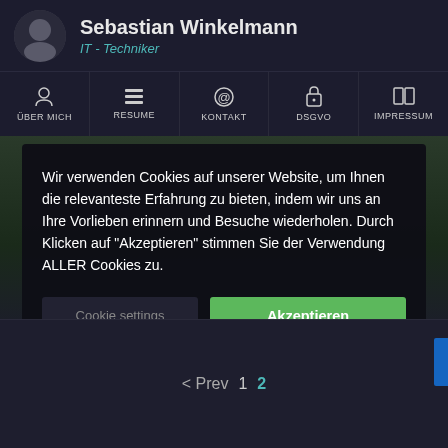Sebastian Winkelmann — IT - Techniker
[Figure (screenshot): Navigation bar with icons: ÜBER MICH, RESUME, KONTAKT, DSGVO, IMPRESSUM]
Wir verwenden Cookies auf unserer Website, um Ihnen die relevanteste Erfahrung zu bieten, indem wir uns an Ihre Vorlieben erinnern und Besuche wiederholen. Durch Klicken auf "Akzeptieren" stimmen Sie der Verwendung ALLER Cookies zu.
Cookie settings   Akzeptieren
< Prev   1   2